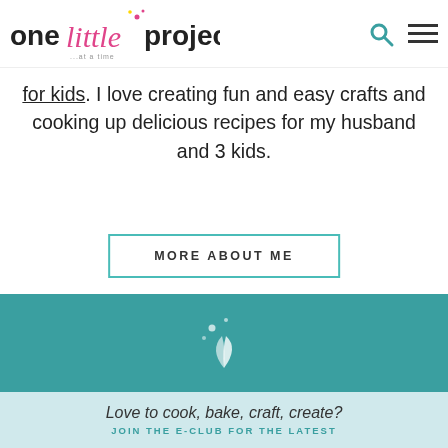one little project ...at a time
for kids. I love creating fun and easy crafts and cooking up delicious recipes for my husband and 3 kids.
MORE ABOUT ME
SEARCH...
[Figure (logo): One Little Project logo with decorative script and dots]
Love to cook, bake, craft, create?
JOIN THE E-CLUB FOR THE LATEST